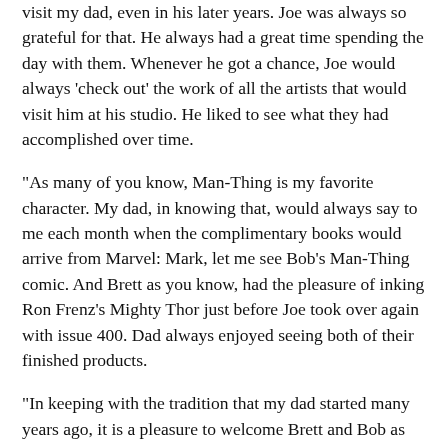visit my dad, even in his later years. Joe was always so grateful for that. He always had a great time spending the day with them. Whenever he got a chance, Joe would always 'check out' the work of all the artists that would visit him at his studio. He liked to see what they had accomplished over time.
"As many of you know, Man-Thing is my favorite character. My dad, in knowing that, would always say to me each month when the complimentary books would arrive from Marvel: Mark, let me see Bob's Man-Thing comic. And Brett as you know, had the pleasure of inking Ron Frenz's Mighty Thor just before Joe took over again with issue 400. Dad always enjoyed seeing both of their finished products.
"In keeping with the tradition that my dad started many years ago, it is a pleasure to welcome Brett and Bob as the newest